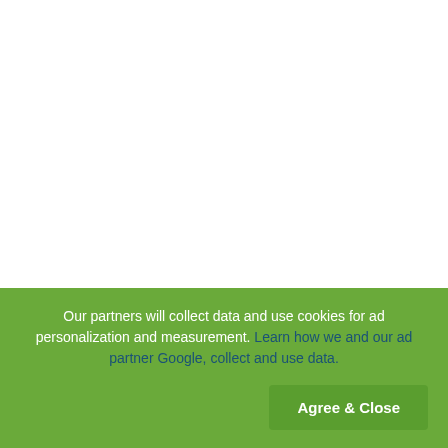COMMENT NE PAS DEVENIR PARISIEN 1 Jul, 2019 | CNPDP-PRE10-2 | FL: 1,400 KB | 30 P...
Our partners will collect data and use cookies for ad personalization and measurement. Learn how we and our ad partner Google, collect and use data.
Agree & Close